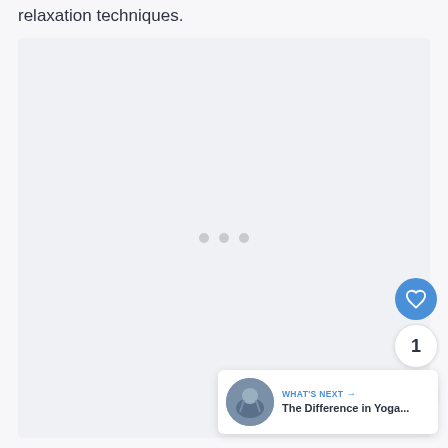relaxation techniques.
[Figure (other): Light grey ad placeholder box with three dots in the center indicating loading or empty ad content]
[Figure (other): Blue circular like/heart button with white heart icon, showing count of 1 below, and a share button below that]
WHAT'S NEXT → The Difference in Yoga...